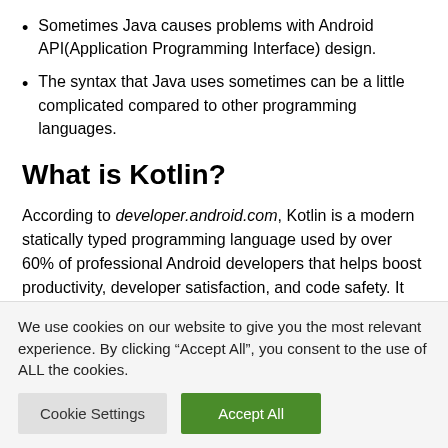Sometimes Java causes problems with Android API(Application Programming Interface) design.
The syntax that Java uses sometimes can be a little complicated compared to other programming languages.
What is Kotlin?
According to developer.android.com, Kotlin is a modern statically typed programming language used by over 60% of professional Android developers that helps boost productivity, developer satisfaction, and code safety. It was introduced at Google I/O 2019 as one of Android's main
We use cookies on our website to give you the most relevant experience. By clicking “Accept All”, you consent to the use of ALL the cookies.